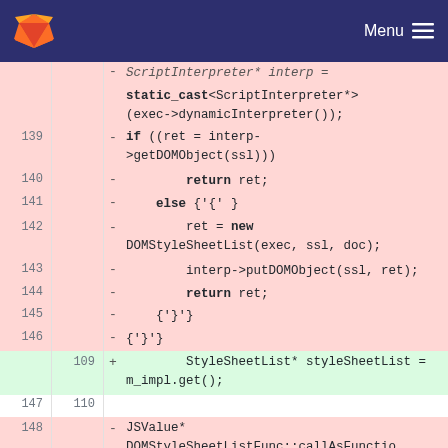GitLab Menu
[Figure (screenshot): Code diff view showing C++ source code with removed lines (red background, lines 138-146) and an added line (green background, line 109). The diff shows changes to script interpreter and DOMStyleSheetList related code.]